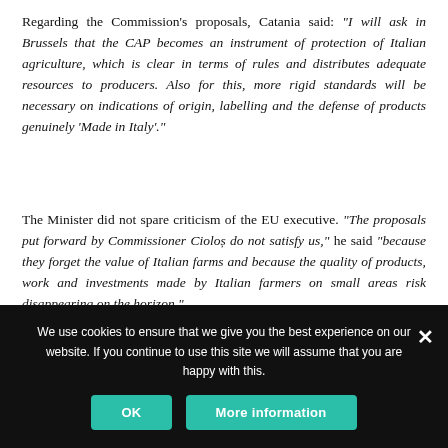Regarding the Commission’s proposals, Catania said: “I will ask in Brussels that the CAP becomes an instrument of protection of Italian agriculture, which is clear in terms of rules and distributes adequate resources to producers. Also for this, more rigid standards will be necessary on indications of origin, labelling and the defense of products genuinely ‘Made in Italy’.”
The Minister did not spare criticism of the EU executive. “The proposals put forward by Commissioner Ciolos do not satisfy us,” he said “because they forget the value of Italian farms and because the quality of products, work and investments made by Italian farmers on small areas risk disappearing on the horizon.”
We use cookies to ensure that we give you the best experience on our website. If you continue to use this site we will assume that you are happy with this.